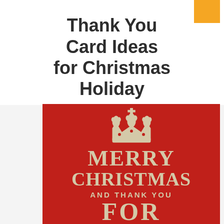Thank You Card Ideas for Christmas Holiday
[Figure (illustration): Red 'Keep Calm' style Christmas card showing a crown graphic, text 'MERRY CHRISTMAS AND THANK YOU FOR' in cream/beige letters on red background]